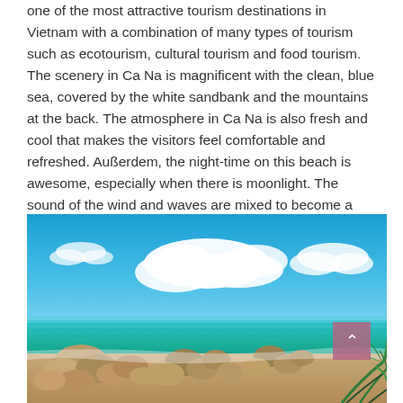one of the most attractive tourism destinations in Vietnam with a combination of many types of tourism such as ecotourism, cultural tourism and food tourism. The scenery in Ca Na is magnificent with the clean, blue sea, covered by the white sandbank and the mountains at the back. The atmosphere in Ca Na is also fresh and cool that makes the visitors feel comfortable and refreshed. Außerdem, the night-time on this beach is awesome, especially when there is moonlight. The sound of the wind and waves are mixed to become a harmonic song that cannot be forgotten.
[Figure (photo): A tropical beach scene with a bright blue sky filled with white clouds, turquoise sea water, large rounded boulders and rocks along the shore, and green palm fronds in the lower right corner.]